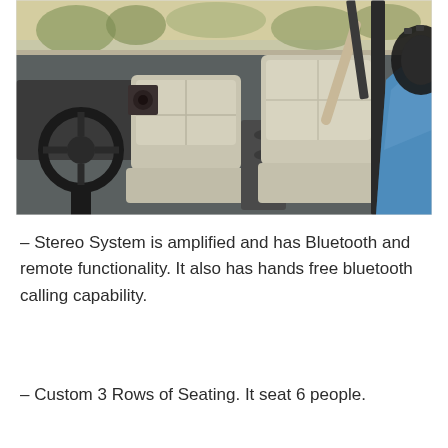[Figure (photo): Interior view of a custom off-road vehicle (Jeep-style) showing gray/beige bucket seats, steering wheel on the left, roll cage bars visible, blue exterior body panel on the right, and off-road tire partially visible. Background shows outdoor desert/scrubland terrain.]
– Stereo System is amplified and has Bluetooth and remote functionality. It also has hands free bluetooth calling capability.
– Custom 3 Rows of Seating. It seat 6 people.